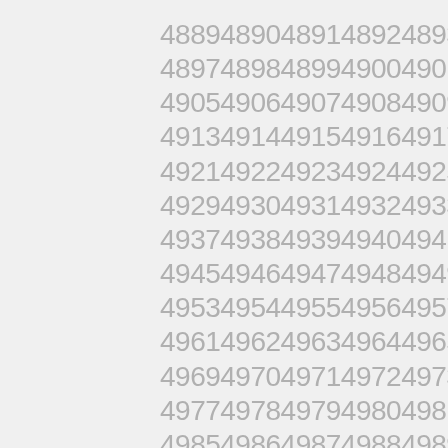4889 4890 4891 4892 4893 4894 4895 4896
4897 4898 4899 4900 4901 4902 4903 4904
4905 4906 4907 4908 4909 4910 4911 4912
4913 4914 4915 4916 4917 4918 4919 4920
4921 4922 4923 4924 4925 4926 4927 4928
4929 4930 4931 4932 4933 4934 4935 4936
4937 4938 4939 4940 4941 4942 4943 4944
4945 4946 4947 4948 4949 4950 4951 4952
4953 4954 4955 4956 4957 4958 4959 4960
4961 4962 4963 4964 4965 4966 4967 4968
4969 4970 4971 4972 4973 4974 4975 4976
4977 4978 4979 4980 4981 4982 4983 4984
4985 4986 4987 4988 4989 4990 4991 4992